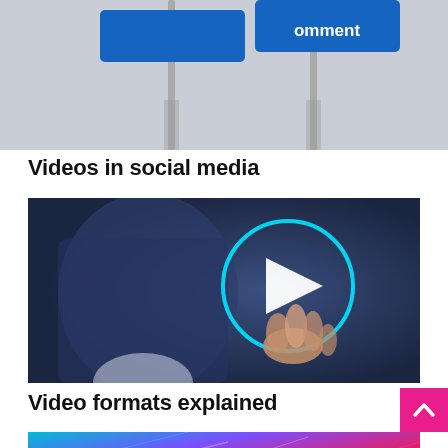[Figure (photo): Partial top of image showing two blue street signs on poles against a grey background, one reads 'comment']
Videos in social media
[Figure (photo): A person in a business suit pointing at a glowing circular play button icon on a dark blue blurred background]
Video formats explained
[Figure (photo): Colorful abstract fiber optic lights in purple, blue, and green tones]